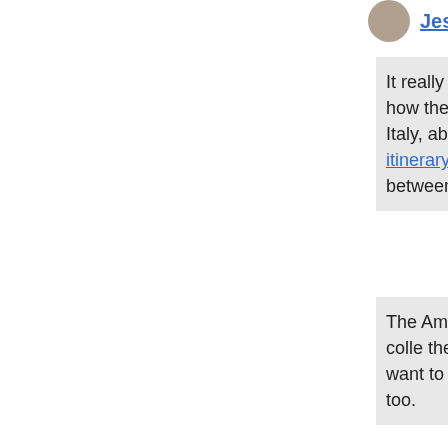Jessica   12 April 2016 at 10:42
It really depends on your schedule, Jen – how there & back, where else you're going in Italy, about planning the perfect Italy itinerary, which differences in logistics between the two.
The Amalfi Coast & Cinque Terre are both colle they're not identical, so perhaps you'll want to decide which sounds better to you, too.
Reply
andrew   27 June 2016 at 21:52
Jen,
Amalfi and Cirque Terre are both very similar a is fantastic. Take the bus from positano to ama on the outside of the station in positano. The b ticket seller will show you the right way. the bus long and narrow, but its half the fun. We were b the people were. its not a hustle bustle town bu of shopping and knick nacks if thats your thing like the hill climbs. the resturants are all pretty the center square. to the left of the clock towe